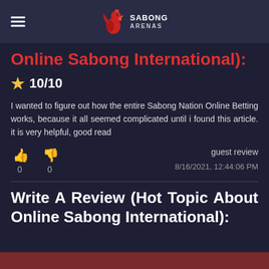Sabong Arenas
Online Sabong International):
★ 10/10
I wanted to figure out how the entire Sabong Nation Online Betting works, because it all seemed complicated until i found this article. it is very helpful, good read
guest review
8/16/2021, 12:44:06 PM
Write A Review (Hot Topic About Online Sabong International):